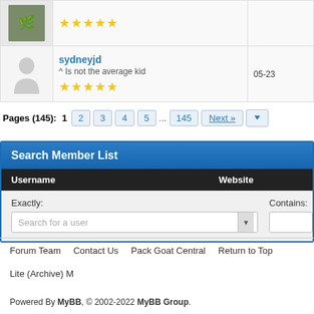| Avatar | User | Date |
| --- | --- | --- |
| [photo] | five stars |  |
| [placeholder] | sydneyjd
^ Is not the average kid
five stars | 05-23 |
Pages (145): 1 2 3 4 5 ... 145 Next »
Search Member List
| Username | Website |
| --- | --- |
| Exactly: [Search for a user] | Contains: |
Forum Team · Contact Us · Pack Goat Central · Return to Top · Lite (Archive) M
Powered By MyBB, © 2002-2022 MyBB Group.